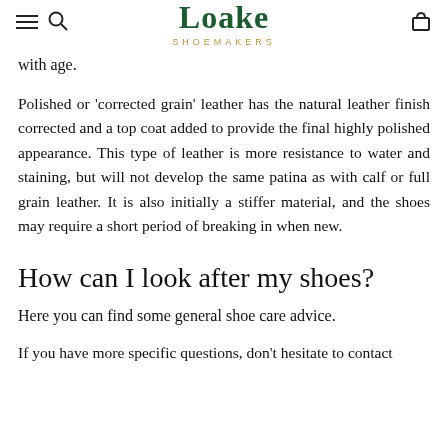Loake Shoemakers
with age.
Polished or 'corrected grain' leather has the natural leather finish corrected and a top coat added to provide the final highly polished appearance. This type of leather is more resistance to water and staining, but will not develop the same patina as with calf or full grain leather. It is also initially a stiffer material, and the shoes may require a short period of breaking in when new.
How can I look after my shoes?
Here you can find some general shoe care advice.
If you have more specific questions, don't hesitate to contact